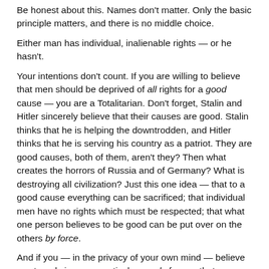Be honest about this. Names don't matter. Only the basic principle matters, and there is no middle choice.
Either man has individual, inalienable rights — or he hasn't.
Your intentions don't count. If you are willing to believe that men should be deprived of all rights for a good cause — you are a Totalitarian. Don't forget, Stalin and Hitler sincerely believe that their causes are good. Stalin thinks that he is helping the downtrodden, and Hitler thinks that he is serving his country as a patriot. They are good causes, both of them, aren't they? Then what creates the horrors of Russia and of Germany? What is destroying all civilization? Just this one idea — that to a good cause everything can be sacrificed; that individual men have no rights which must be respected; that what one person believes to be good can be put over on the others by force.
And if you — in the privacy of your own mind — believe so strongly in some particular good of yours that you would be willing to deprive men of all rights for the sake of this good, then you are as guilty of all the horrors of today as Hitler and Stalin. These horrors are made possible only by men who have lost all respect for single, individual human beings, who accept the idea